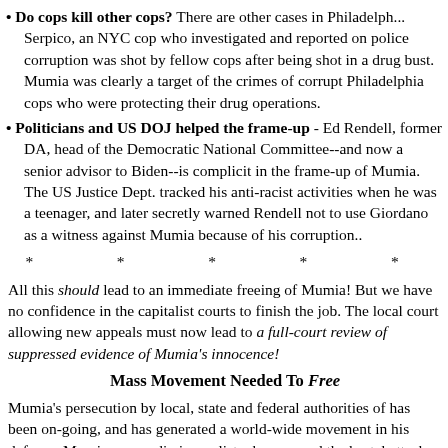• Do cops kill other cops? There are other cases in Philadelphia. Serpico, an NYC cop who investigated and reported on police corruption was shot by fellow cops after being shot in a drug bust. Mumia was clearly a target of the crimes of corrupt Philadelphia cops who were protecting their drug operations.
• Politicians and US DOJ helped the frame-up - Ed Rendell, former DA, head of the Democratic National Committee--and now a senior advisor to Biden--is complicit in the frame-up of Mumia. The US Justice Department tracked his anti-racist activities when he was a teenager, and later secretly warned Rendell not to use Giordano as a witness against Mumia because of his corruption..
* * * * *
All this should lead to an immediate freeing of Mumia! But we have no confidence in the capitalist courts to finish the job. The local court allowing new appeals must now lead to a full-court review of suppressed evidence of Mumia's innocence!
Mass Movement Needed To Free
Mumia's persecution by local, state and federal authorities of has been on-going, and has generated a world-wide movement in his defense. Mumia, as a radio journalist who exposed the brutal attacks on police in Philadelphia, has spoken out as a defender of political